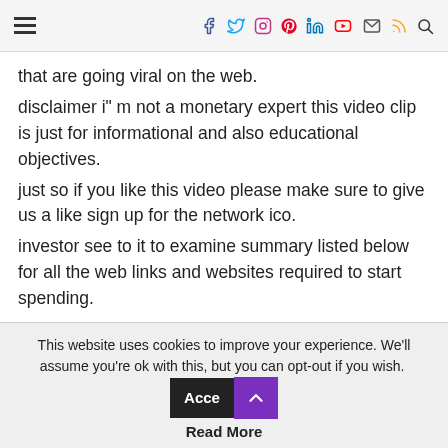Navigation header with hamburger menu and social icons: Facebook, Twitter, Instagram, Pinterest, LinkedIn, YouTube, Email, RSS, Search
that are going viral on the web.
disclaimer i" m not a monetary expert this video clip is just for informational and also educational objectives.
just so if you like this video please make sure to give us a like sign up for the network ico.
investor see to it to examine summary listed below for all the web links and websites required to start spending.
in these nft tasks and of course remark in the remark area below all the inquiries that i might.
have actually not covered enjoy so guys we are currently
This website uses cookies to improve your experience. We'll assume you're ok with this, but you can opt-out if you wish. Accept Read More